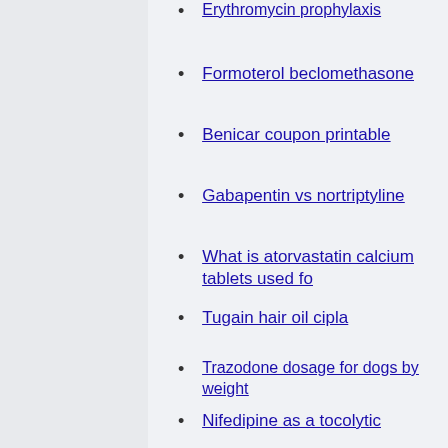Erythromycin prophylaxis
Formoterol beclomethasone
Benicar coupon printable
Gabapentin vs nortriptyline
What is atorvastatin calcium tablets used fo
Tugain hair oil cipla
Trazodone dosage for dogs by weight
Nifedipine as a tocolytic
Urispas online
Piroxicam warnings
Masteron propionate dosage